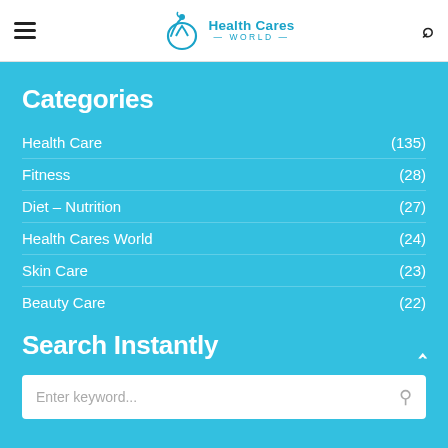Health Cares World
Categories
Health Care (135)
Fitness (28)
Diet – Nutrition (27)
Health Cares World (24)
Skin Care (23)
Beauty Care (22)
Search Instantly
Enter keyword...